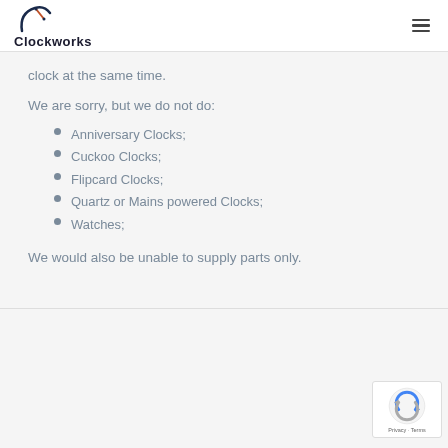Clockworks
clock at the same time.
We are sorry, but we do not do:
Anniversary Clocks;
Cuckoo Clocks;
Flipcard Clocks;
Quartz or Mains powered Clocks;
Watches;
We would also be unable to supply parts only.
[Figure (logo): reCAPTCHA badge with Privacy and Terms links]